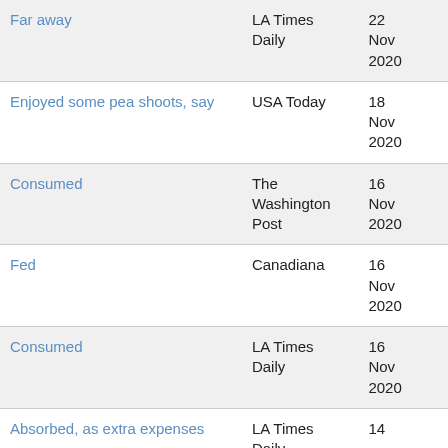| Clue | Publication | Date |
| --- | --- | --- |
| Far away | LA Times Daily | 22 Nov 2020 |
| Enjoyed some pea shoots, say | USA Today | 18 Nov 2020 |
| Consumed | The Washington Post | 16 Nov 2020 |
| Fed | Canadiana | 16 Nov 2020 |
| Consumed | LA Times Daily | 16 Nov 2020 |
| Absorbed, as extra expenses | LA Times Daily | 14 |